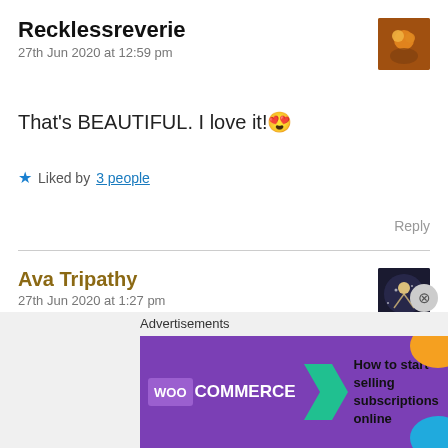Recklessreverie
27th Jun 2020 at 12:59 pm
That's BEAUTIFUL. I love it! 😍
★ Liked by 3 people
Reply
Ava Tripathy
27th Jun 2020 at 1:27 pm
Thank you so much 😊😇
Advertisements
[Figure (screenshot): WooCommerce advertisement banner: How to start selling subscriptions online]